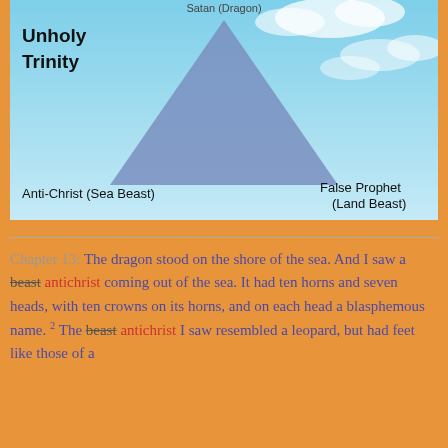[Figure (infographic): Unholy Trinity diagram with a blue triangle on a sky background. Top vertex label: Satan (Dragon). Bottom-left label: Anti-Christ (Sea Beast). Bottom-right label: False Prophet (Land Beast). 'Unholy Trinity' text in bold at top left.]
Chapter 13: The dragon stood on the shore of the sea. And I saw a beast antichrist coming out of the sea. It had ten horns and seven heads, with ten crowns on its horns, and on each head a blasphemous name. 2 The beast antichrist I saw resembled a leopard, but had feet like those of a